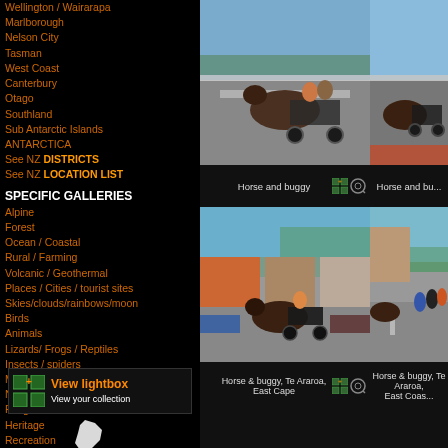Wellington / Wairarapa
Marlborough
Nelson City
Tasman
West Coast
Canterbury
Otago
Southland
Sub Antarctic Islands
ANTARCTICA
See NZ DISTRICTS
See NZ LOCATION LIST
SPECIFIC GALLERIES
Alpine
Forest
Ocean / Coastal
Rural / Farming
Volcanic / Geothermal
Places / Cities / tourist sites
Skies/clouds/rainbows/moon
Birds
Animals
Lizards/ Frogs / Reptiles
Insects / spiders
Marine Mammals
Native plants
Fungi
Heritage
Recreation
Environmental
Traffic / roads / cars
[Figure (photo): Horse and buggy photo 1]
Horse and buggy
[Figure (photo): Horse and buggy photo 2 (partial)]
Horse and bu...
[Figure (photo): Horse and buggy, Te Araroa, East Cape]
Horse & buggy, Te Araroa, East Cape
[Figure (photo): Horse & buggy, Te Araroa, East Coast (partial)]
Horse & buggy, Te Araroa, East Coas...
[Figure (logo): New Zealand map silhouette]
View lightbox
View your collection